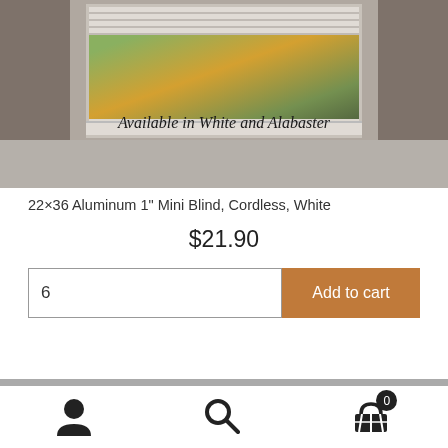[Figure (photo): Product image of a window with aluminum mini blind installed, shown against a gray/taupe wall with autumn trees visible through the window. Caption reads 'Available in White and Alabaster'.]
22×36 Aluminum 1" Mini Blind, Cordless, White
$21.90
6
Add to cart
[Figure (infographic): Bottom navigation bar with user/account icon, search icon, and shopping cart icon with badge showing 0]